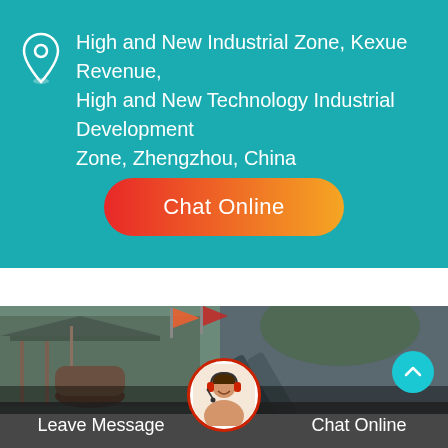High and New Industrial Zone, Kexue Revenue, High and New Technology Industrial Development Zone, Zhengzhou, China
Chat Online
[Figure (photo): Industrial machinery / mining equipment site with structures, conveyor belts, and hillside in background]
Leave Message
Chat Online